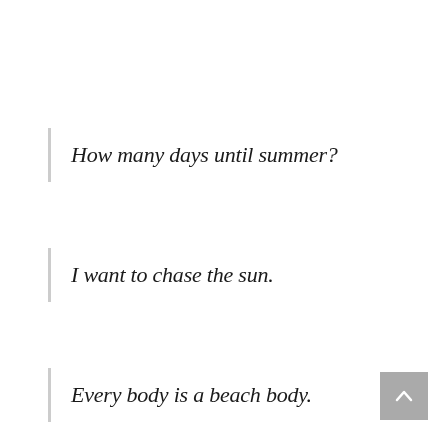How many days until summer?
I want to chase the sun.
Every body is a beach body.